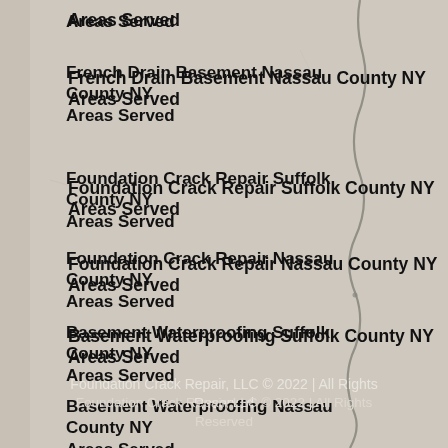Areas Served
French Drain Basement Nassau County NY Areas Served
Foundation Crack Repair Suffolk County NY Areas Served
Foundation Crack Repair Nassau County NY Areas Served
Basement Waterproofing Suffolk County NY Areas Served
Basement Waterproofing Nassau County NY Areas Served
Foundation Crack Repair, LLC © 2022 | All Rights Reserved